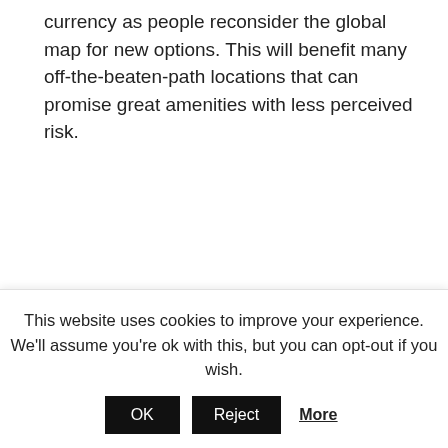currency as people reconsider the global map for new options. This will benefit many off-the-beaten-path locations that can promise great amenities with less perceived risk.
[Figure (photo): Portrait photo of a middle-aged man in a dark suit and striped tie, smiling, photographed in a studio or indoor setting with a blurred background.]
This website uses cookies to improve your experience. We'll assume you're ok with this, but you can opt-out if you wish.